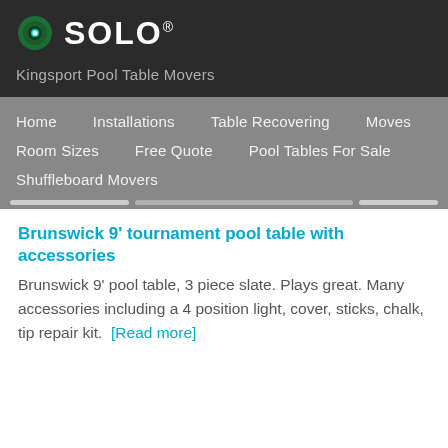[Figure (logo): SOLO logo with circular green icon and white text on dark background]
Kingsport Pool Table Movers
Home  Installations  Table Recovering  Moves  Room Sizes  Free Quote  Pool Tables For Sale  Shuffleboard Movers
Brunswick 9' tournament pool table with accessories
Brunswick 9' pool table, 3 piece slate. Plays great. Many accessories including a 4 position light, cover, sticks, chalk, tip repair kit.  [Read more]